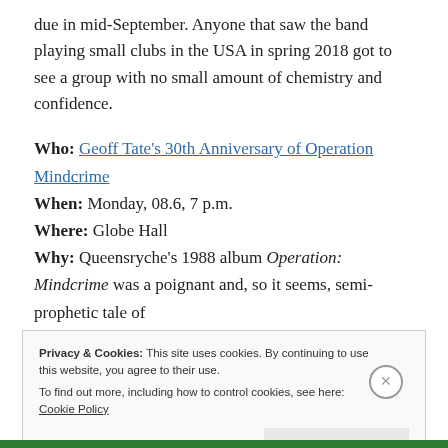due in mid-September. Anyone that saw the band playing small clubs in the USA in spring 2018 got to see a group with no small amount of chemistry and confidence.
Who: Geoff Tate's 30th Anniversary of Operation Mindcrime
When: Monday, 08.6, 7 p.m.
Where: Globe Hall
Why: Queensryche's 1988 album Operation: Mindcrime was a poignant and, so it seems, semi-prophetic tale of
Privacy & Cookies: This site uses cookies. By continuing to use this website, you agree to their use. To find out more, including how to control cookies, see here: Cookie Policy